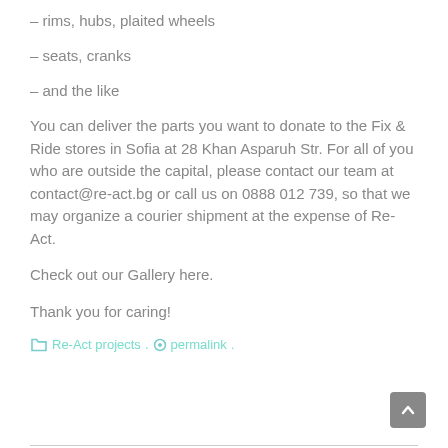– rims, hubs, plaited wheels
– seats, cranks
– and the like
You can deliver the parts you want to donate to the Fix & Ride stores in Sofia at 28 Khan Asparuh Str. For all of you who are outside the capital, please contact our team at contact@re-act.bg or call us on 0888 012 739, so that we may organize a courier shipment at the expense of Re-Act.
Check out our Gallery here.
Thank you for caring!
Re-Act projects. permalink.